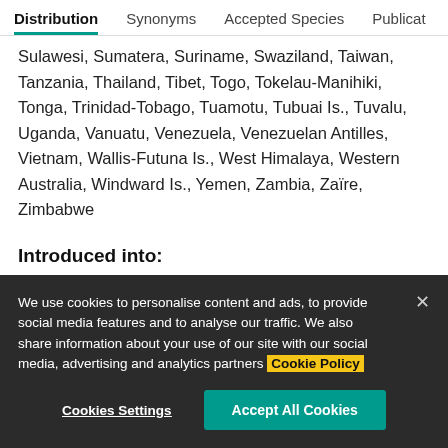Distribution | Synonyms | Accepted Species | Publications
Sulawesi, Sumatera, Suriname, Swaziland, Taiwan, Tanzania, Thailand, Tibet, Togo, Tokelau-Manihiki, Tonga, Trinidad-Tobago, Tuamotu, Tubuai Is., Tuvalu, Uganda, Vanuatu, Venezuela, Venezuelan Antilles, Vietnam, Wallis-Futuna Is., West Himalaya, Western Australia, Windward Is., Yemen, Zambia, Zaïre, Zimbabwe
Introduced into:
We use cookies to personalise content and ads, to provide social media features and to analyse our traffic. We also share information about your use of our site with our social media, advertising and analytics partners Cookie Policy
Cookies Settings | Accept All Cookies